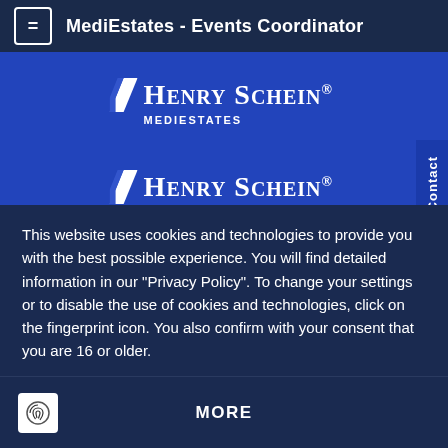MediEstates - Events Coordinator
[Figure (logo): Henry Schein Mediestates logo - white text on blue background with diagonal slash graphic]
[Figure (logo): Henry Schein Medicruit logo - white text on blue background with diagonal slash graphic]
This website uses cookies and technologies to provide you with the best possible experience. You will find detailed information in our "Privacy Policy". To change your settings or to disable the use of cookies and technologies, click on the fingerprint icon. You also confirm with your consent that you are 16 or older.
ACCEPT
MORE